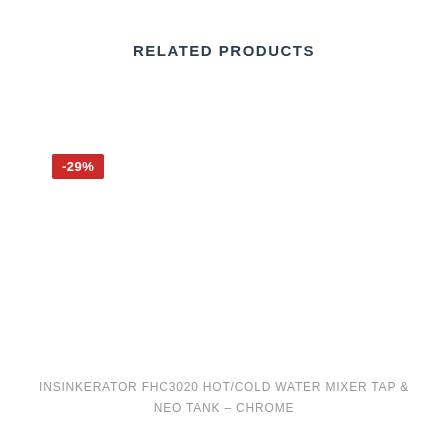RELATED PRODUCTS
-29%
INSINKERATOR FHC3020 HOT/COLD WATER MIXER TAP & NEO TANK – CHROME